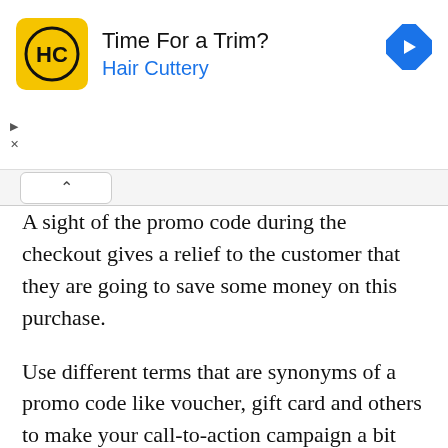[Figure (logo): Hair Cuttery advertisement banner with yellow HC logo, title 'Time For a Trim?', subtitle 'Hair Cuttery', and a blue diamond navigation arrow icon]
A sight of the promo code during the checkout gives a relief to the customer that they are going to save some money on this purchase.
Use different terms that are synonyms of a promo code like voucher, gift card and others to make your call-to-action campaign a bit more attractive yet lowkey.
Take care of revenues and satisfy your customers too